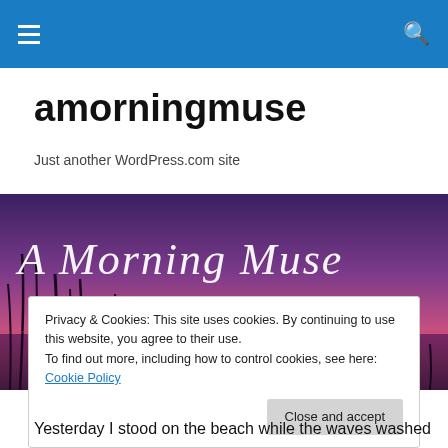amorningmuse navigation bar
amorningmuse
Just another WordPress.com site
[Figure (illustration): A Morning Muse banner image with purple/pink sunset sky, silhouetted reeds, red sun on water. Text: 'A Morning Muse' and 'little thoughts i thunk']
Privacy & Cookies: This site uses cookies. By continuing to use this website, you agree to their use.
To find out more, including how to control cookies, see here: Cookie Policy
[Close and accept button]
Yesterday I stood on the beach while the waves washed